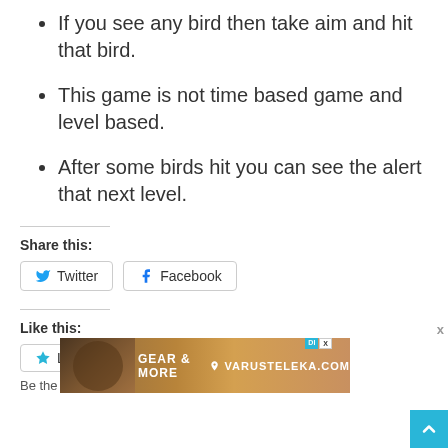If you see any bird then take aim and hit that bird.
This game is not time based game and level based.
After some birds hit you can see the alert that next level.
Share this:
Twitter  Facebook
Like this:
Like
Be the first to like
[Figure (infographic): Advertisement banner for GEAR & MORE by VARUSTELEKA.COM with a man in a hat, showing DI and X buttons]